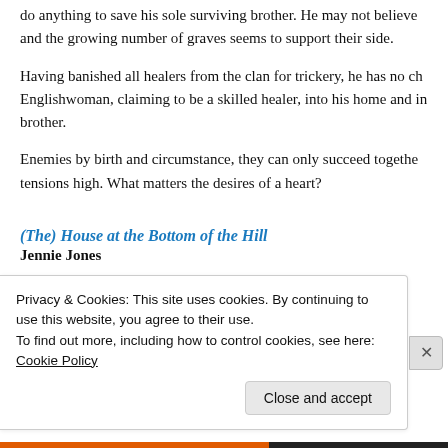do anything to save his sole surviving brother. He may not believe and the growing number of graves seems to support their side.
Having banished all healers from the clan for trickery, he has no ch Englishwoman, claiming to be a skilled healer, into his home and in brother.
Enemies by birth and circumstance, they can only succeed togethe tensions high. What matters the desires of a heart?
(The) House at the Bottom of the Hill
Jennie Jones
Privacy & Cookies: This site uses cookies. By continuing to use this website, you agree to their use.
To find out more, including how to control cookies, see here: Cookie Policy